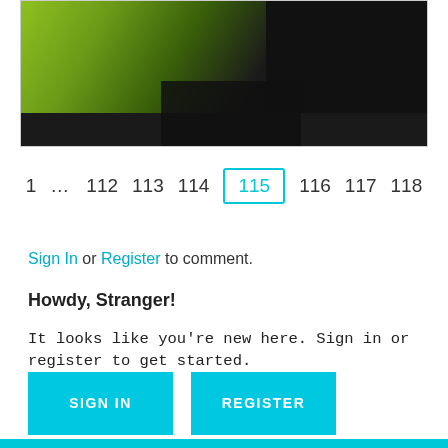[Figure (photo): Dark screenshot showing a person in a green/yellow jacket on the left side against a dark background]
1 … 112 113 114 115 116 117 118
Sign In or Register to comment.
Howdy, Stranger!
It looks like you're new here. Sign in or register to get started.
SIGN IN   REGISTER